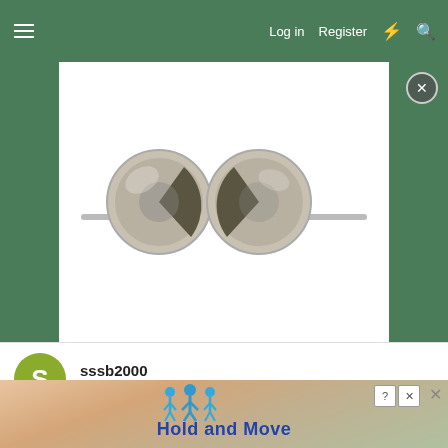Log in  Register
[Figure (photo): Close-up photo of two metallic earphone/headphone drivers facing each other on a white background, shown against a green background banner]
sssb2000
Well-known Member
Jan 25, 2005   #8
Thanks for the responses...
i think Odinsdream answered the question though...

Greg Truby,
i can't change the formula to what you suggested because the
condition... ition....
the real   value
[Figure (other): Hold and Move advertisement overlay with figures of people and close buttons]